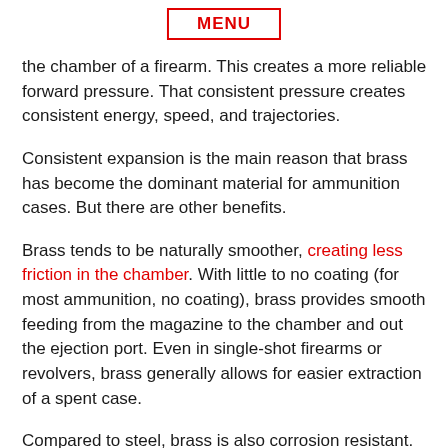MENU
the chamber of a firearm. This creates a more reliable forward pressure. That consistent pressure creates consistent energy, speed, and trajectories.
Consistent expansion is the main reason that brass has become the dominant material for ammunition cases. But there are other benefits.
Brass tends to be naturally smoother, creating less friction in the chamber. With little to no coating (for most ammunition, no coating), brass provides smooth feeding from the magazine to the chamber and out the ejection port. Even in single-shot firearms or revolvers, brass generally allows for easier extraction of a spent case.
Compared to steel, brass is also corrosion resistant. That's not to say that brass can't corrode and breakdown, nor is it